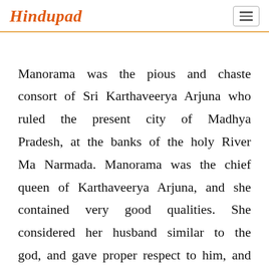Hindupad
Manorama was the pious and chaste consort of Sri Karthaveerya Arjuna who ruled the present city of Madhya Pradesh, at the banks of the holy River Ma Narmada. Manorama was the chief queen of Karthaveerya Arjuna, and she contained very good qualities. She considered her husband similar to the god, and gave proper respect to him, and she has